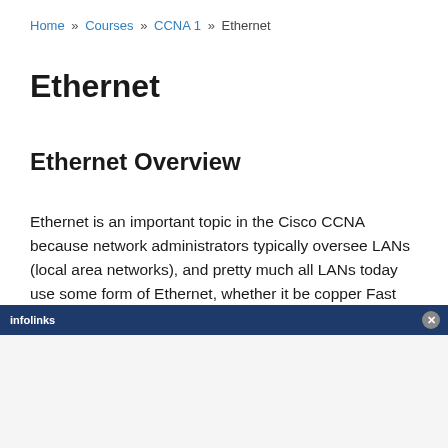Home » Courses » CCNA 1 » Ethernet
Ethernet
Ethernet Overview
Ethernet is an important topic in the Cisco CCNA because network administrators typically oversee LANs (local area networks), and pretty much all LANs today use some form of Ethernet, whether it be copper Fast Ethernet, or fiber optic Gigabit Ethernet, or